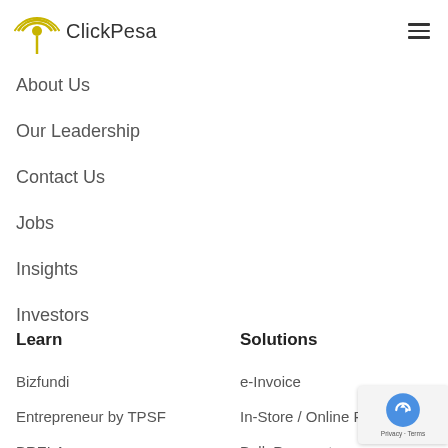ClickPesa
About Us
Our Leadership
Contact Us
Jobs
Insights
Investors
Learn
Solutions
Bizfundi
e-Invoice
Entrepreneur by TPSF
In-Store / Online Payments
BRELA
Bulk Payments